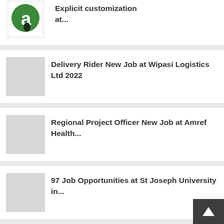[Figure (logo): Green circular logo with letter 'a' in white on green background with dark leaf/teardrop shape at bottom]
Explicit customization at...
Delivery Rider New Job at Wipasi Logistics Ltd 2022
Regional Project Officer New Job at Amref Health...
97 Job Opportunities at St Joseph University in...